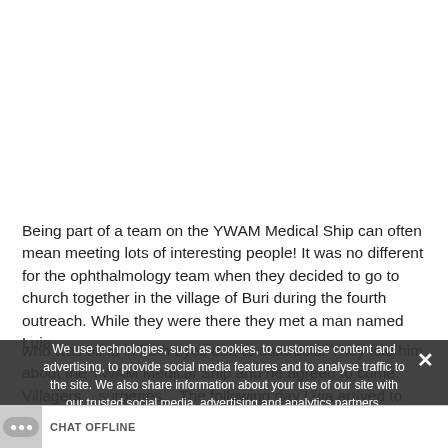[Figure (photo): White blank space at top of page, likely where an image was loaded/cut off.]
Being part of a team on the YWAM Medical Ship can often mean meeting lots of interesting people! It was no different for the ophthalmology team when they decided to go to church together in the village of Buri during the fourth outreach. While they were there they met a man named Luia who was blind in both eyes due to cataracts. They told him about the YWAM Medical Ship and he agreed to come. Villagers... surgeries... The following day Luia arrived to the ship by dug-out canoe, which he paddled a... village! The team was surprised to see h... looking, now lifted b... W... ...
We use technologies, such as cookies, to customise content and advertising, to provide social media features and to analyse traffic to the site. We also share information about your use of our site with our trusted social media, advertising and analytics partners.